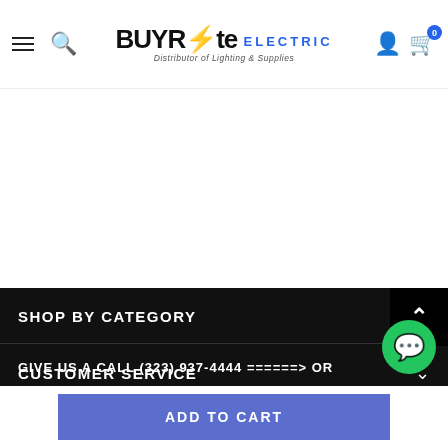BUYRite ELECTRIC — Distributor of Lighting & Supplies
[Figure (logo): BUYRite Electric logo with tagline 'Distributor of Lighting & Supplies']
SHOP BY CATEGORY
CUSTOMER SERVICE
MY ORDER
GIVE US A CALL (323) 937-4444 ======> OR
ADD TO CART